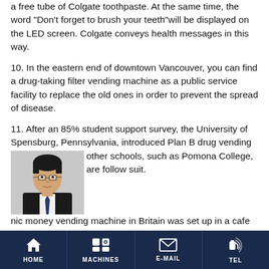a free tube of Colgate toothpaste. At the same time, the word "Don't forget to brush your teeth"will be displayed on the LED screen. Colgate conveys health messages in this way.
10. In the eastern end of downtown Vancouver, you can find a drug-taking filter vending machine as a public service facility to replace the old ones in order to prevent the spread of disease.
11. After an 85% student support survey, the University of Spensburg, Pennsylvania, introduced Plan B drug vending [machine. And] other schools, such as Pomona College, are [expected to] follow suit.
[The first Bitcoin] money vending machine in Britain was set up in a cafe near the Small Silicon Valley Technology Center in East London in March 2014. Through this vending machine, Bitcoin can be exchanged for paper money.
[Figure (photo): Headshot photo of an Asian man wearing glasses and a suit with a tie]
HOME  MACHINES  E-MAIL  TEL